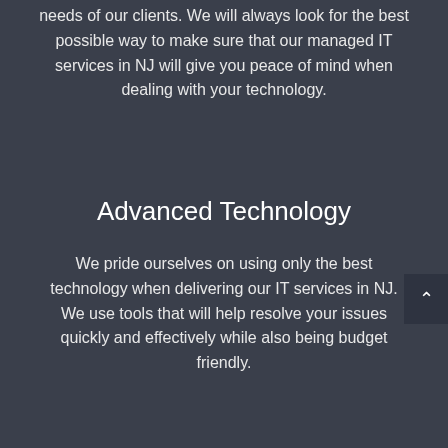needs of our clients. We will always look for the best possible way to make sure that our managed IT services in NJ will give you peace of mind when dealing with your technology.
Advanced Technology
We pride ourselves on using only the best technology when delivering our IT services in NJ. We use tools that will help resolve your issues quickly and effectively while also being budget friendly.